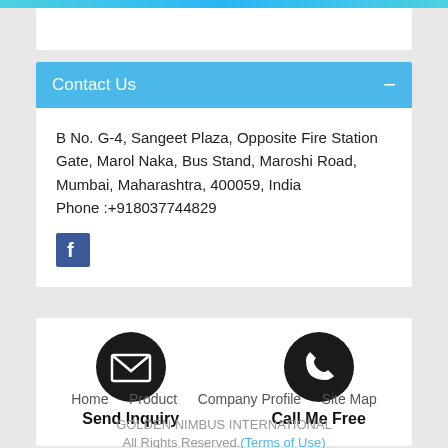Contact Us
B No. G-4, Sangeet Plaza, Opposite Fire Station Gate, Marol Naka, Bus Stand, Maroshi Road, Mumbai, Maharashtra, 400059, India
Phone :+918037744829
[Figure (logo): Facebook icon - blue square with white 'f' letter]
[Figure (infographic): Two action buttons: Send Inquiry (envelope icon) and Call Me Free (phone icon)]
Home   Product   Company Profile   Site Map
GOLDEN NIMBUS INTERNATIONAL All Rights Reserved.(Terms of Use)